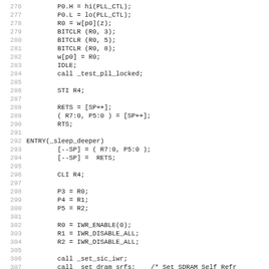[Figure (screenshot): Assembly/DSP source code listing, lines 276-307, showing register operations, PLL control, sleep_deeper entry point, IWR enable/disable calls, and SDRAM self-refresh setup.]